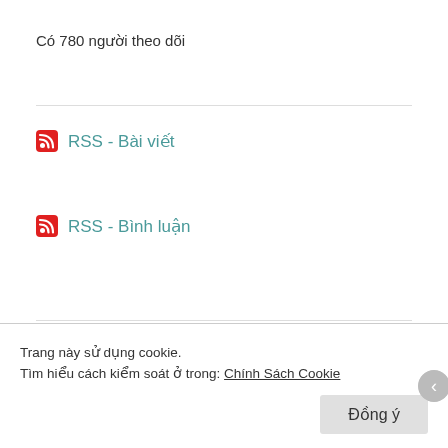Có 780 người theo dõi
RSS - Bài viết
RSS - Bình luận
Các bạn chia sẻ
Trang này sử dụng cookie.
Tìm hiểu cách kiểm soát ở trong: Chính Sách Cookie
Đồng ý